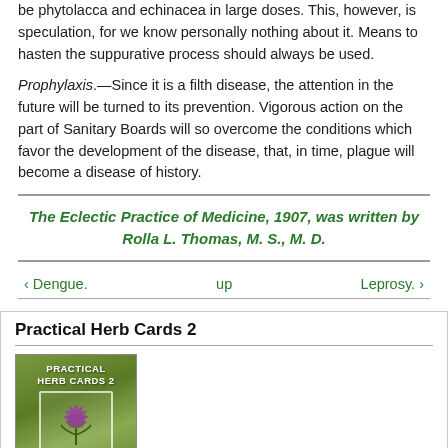be phytolacca and echinacea in large doses. This, however, is speculation, for we know personally nothing about it. Means to hasten the suppurative process should always be used.
Prophylaxis.—Since it is a filth disease, the attention in the future will be turned to its prevention. Vigorous action on the part of Sanitary Boards will so overcome the conditions which favor the development of the disease, that, in time, plague will become a disease of history.
The Eclectic Practice of Medicine, 1907, was written by Rolla L. Thomas, M. S., M. D.
‹ Dengue.
up
Leprosy. ›
Practical Herb Cards 2
[Figure (photo): Book cover of Practical Herb Cards 2 showing a purple thistle flower on a green background with a white card frame overlay]